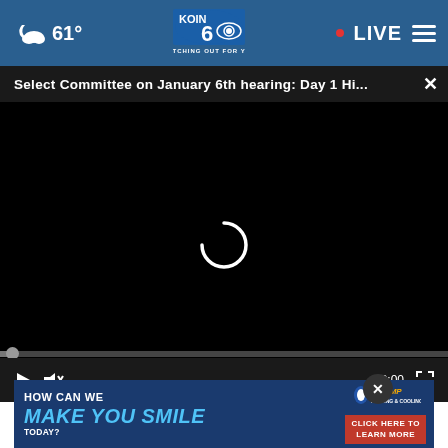[Figure (screenshot): KOIN 6 CBS news website screenshot showing navigation bar with weather (61°), KOIN 6 CBS logo with 'WATCHING OUT FOR YOU' tagline, LIVE indicator, and hamburger menu. Below is a ticker bar reading 'Select Committee on January 6th hearing: Day 1 Hi...' with a close button. A video player shows a loading spinner on black background with playback controls (play, mute, timecode 00:00, fullscreen). Below is a photo strip and an A-TEMP advertisement banner reading 'HOW CAN WE MAKE YOU SMILE TODAY?' with 'CLICK HERE TO LEARN MORE' button.]